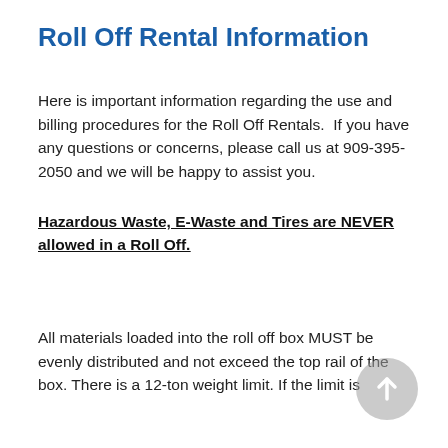Roll Off Rental Information
Here is important information regarding the use and billing procedures for the Roll Off Rentals.  If you have any questions or concerns, please call us at 909-395-2050 and we will be happy to assist you.
Hazardous Waste, E-Waste and Tires are NEVER allowed in a Roll Off.
All materials loaded into the roll off box MUST be evenly distributed and not exceed the top rail of the box. There is a 12-ton weight limit. If the limit is